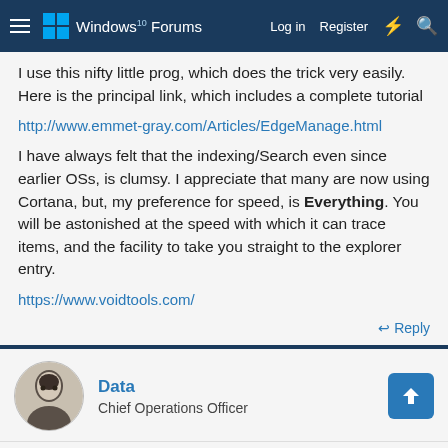Windows 10 Forums | Log in | Register
I use this nifty little prog, which does the trick very easily. Here is the principal link, which includes a complete tutorial
http://www.emmet-gray.com/Articles/EdgeManage.html
I have always felt that the indexing/Search even since earlier OSs, is clumsy. I appreciate that many are now using Cortana, but, my preference for speed, is Everything. You will be astonished at the speed with which it can trace items, and the facility to take you straight to the explorer entry.
https://www.voidtools.com/
Reply
Data
Chief Operations Officer